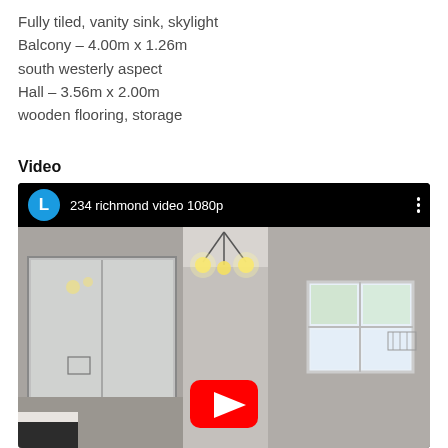Fully tiled, vanity sink, skylight
Balcony – 4.00m x 1.26m
south westerly aspect
Hall – 3.56m x 2.00m
wooden flooring, storage
Video
[Figure (screenshot): YouTube video player showing a video titled '234 richmond video 1080p' with a thumbnail of a bedroom interior featuring a mirror wardrobe, ceiling light fixture, and window. A red YouTube play button is visible in the center of the thumbnail.]